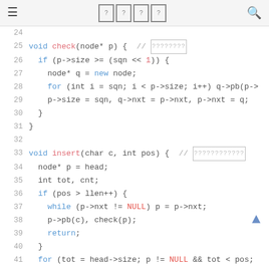≡ [?][?][?][?] 🔍
24
25   void check(node* p) {  // [placeholder]
26     if (p->size >= (sqn << 1)) {
27       node* q = new node;
28       for (int i = sqn; i < p->size; i++) q->pb(p->
29       p->size = sqn, q->nxt = p->nxt, p->nxt = q;
30     }
31   }
32
33   void insert(char c, int pos) {  // [placeholder]
34     node* p = head;
35     int tot, cnt;
36     if (pos > llen++) {
37       while (p->nxt != NULL) p = p->nxt;
38       p->pb(c), check(p);
39       return;
40     }
41     for (tot = head->size; p != NULL && tot < pos;
42       ;
43     tot -= p->size, cnt = pos - tot - 1;
44     for (int i = p->size - 1; i >= cnt; i--) p->d[i
45     p->d[cnt] = c, p->size++;